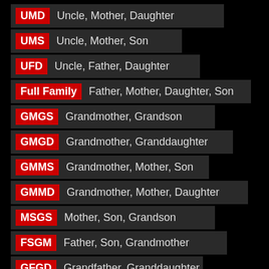UMD Uncle, Mother, Daughter
UMS Uncle, Mother, Son
UFD Uncle, Father, Daughter
Full Family Father, Mother, Daughter, Son
GMGS Grandmother, Grandson
GMGD Grandmother, Granddaughter
GMMS Grandmother, Mother, Son
GMMD Grandmother, Mother, Daughter
MSGS Mother, Son, Grandson
FSGM Father, Son, Grandmother
GFGD Grandfather, Granddaughter